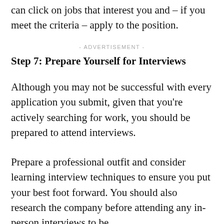can click on jobs that interest you and – if you meet the criteria – apply to the position.
- ADVERTISEMENT -
Step 7: Prepare Yourself for Interviews
Although you may not be successful with every application you submit, given that you're actively searching for work, you should be prepared to attend interviews.
Prepare a professional outfit and consider learning interview techniques to ensure you put your best foot forward. You should also research the company before attending any in-person interviews to be